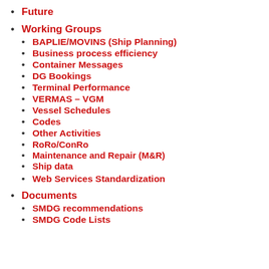Future
Working Groups
BAPLIE/MOVINS (Ship Planning)
Business process efficiency
Container Messages
DG Bookings
Terminal Performance
VERMAS – VGM
Vessel Schedules
Codes
Other Activities
RoRo/ConRo
Maintenance and Repair (M&R)
Ship data
Web Services Standardization
Documents
SMDG recommendations
SMDG Code Lists